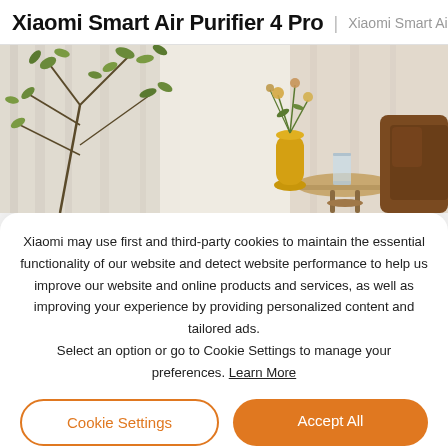Xiaomi Smart Air Purifier 4 Pro | Xiaomi Smart Air
[Figure (photo): Interior room scene with plant branches, white curtains, a yellow vase with flowers, a glass of water on a round table, and a brown sofa on the right side.]
Xiaomi may use first and third-party cookies to maintain the essential functionality of our website and detect website performance to help us improve our website and online products and services, as well as improving your experience by providing personalized content and tailored ads. Select an option or go to Cookie Settings to manage your preferences. Learn More
Cookie Settings
Accept All